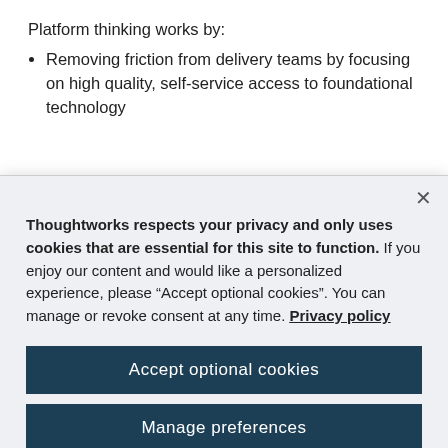Platform thinking works by:
Removing friction from delivery teams by focusing on high quality, self-service access to foundational technology
Thoughtworks respects your privacy and only uses cookies that are essential for this site to function. If you enjoy our content and would like a personalized experience, please “Accept optional cookies”. You can manage or revoke consent at any time. Privacy policy
Accept optional cookies
Manage preferences